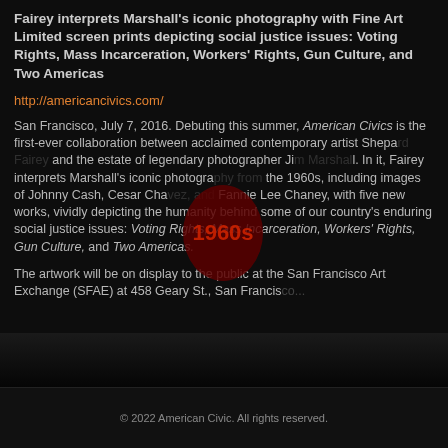Fairey interprets Marshall's iconic photography with Fine Art Limited screen prints depicting social justice issues: Voting Rights, Mass Incarceration, Workers' Rights, Gun Culture, and Two Americas
http://americancivics.com/
San Francisco, July 7, 2016. Debuting this summer, American Civics is the first-ever collaboration between acclaimed contemporary artist Shepard Fairey and the estate of legendary photographer Jim Marshall. In it, Fairey interprets Marshall's iconic photography from the 1960s, including images of Johnny Cash, Cesar Chavez, and Fannie Lee Chaney, with five new works, vividly depicting the humanity behind some of our country's enduring social justice issues: Voting Rights, Mass Incarceration, Workers' Rights, Gun Culture, and Two Americas.
The artwork will be on display to the public at the San Francisco Art Exchange (SFAE) at 458 Geary St., San Francisco...
© 2022 American Civic. All rights reserved.